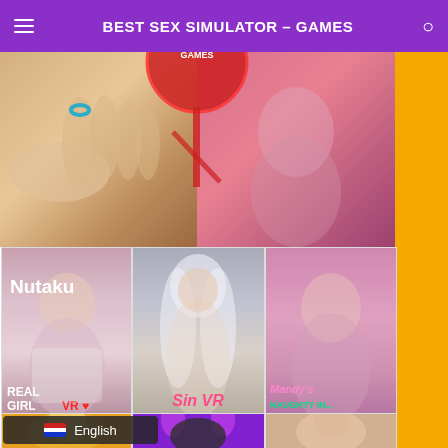BEST SEX SIMULATOR - GAMES
[Figure (screenshot): Hero banner image showing two panels: left panel with hands/skin tones, right panel with animated character. Red circle overlay in center with text.]
[Figure (screenshot): Game card for 'Real Girl VR' showing 3D female character in lingerie with Nutaku branding label, price $20.00]
[Figure (screenshot): Game card for 'SinVR' showing white-haired 3D female character with pink SinVR logo text, price Free to Play]
[Figure (screenshot): Game card for 'Mandy's Room' showing 3D characters with pink/green text labels, price $16. (cut off)]
Real Girl VR
$20.00
SinVR
Free to Play
Mandy's Room
$16.
English